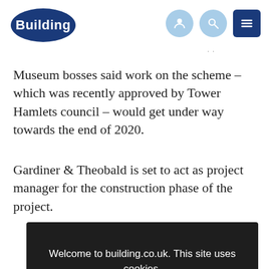Building
Museum bosses said work on the scheme – which was recently approved by Tower Hamlets council – would get under way towards the end of 2020.
Gardiner & Theobald is set to act as project manager for the construction phase of the project.
[Figure (screenshot): Cookie consent banner on building.co.uk with text 'Welcome to building.co.uk. This site uses cookies. Read our policy.' and an OK button.]
The job will include building a new entrance, an upgraded learning centre and a kaleidoscope-inspired feature